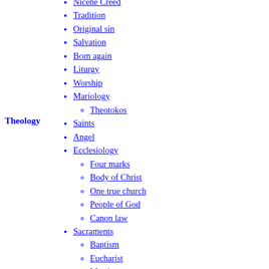Theology
Nicene Creed
Tradition
Original sin
Salvation
Born again
Liturgy
Worship
Mariology
Theotokos
Saints
Angel
Ecclesiology
Four marks
Body of Christ
One true church
People of God
Canon law
Sacraments
Baptism
Eucharist
Marriage
Confirmation
Penance
Anointing of the Sick
Holy orders